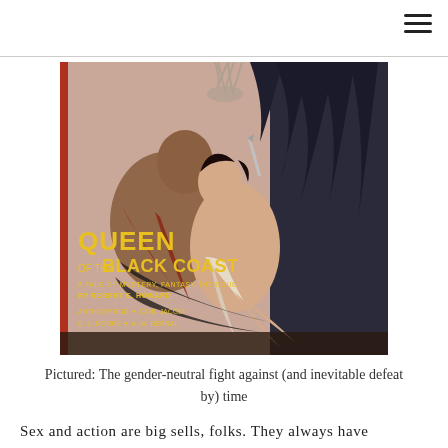[Figure (photo): Book cover of 'Queen of the Black Coast', a pulp fiction magazine cover. Shows illustrated figures of a man and woman in dramatic poses with a dark winged figure in the background. Text on cover reads: 'Queen of the Black Coast, A Tale of Mystery, Fantasy, Intrigue by Robert E. Howard, Anthony Rud, Carl Jacobi, C. L. Moore, A. W. Bernal'.]
Pictured: The gender-neutral fight against (and inevitable defeat by) time
Sex and action are big sells, folks. They always have